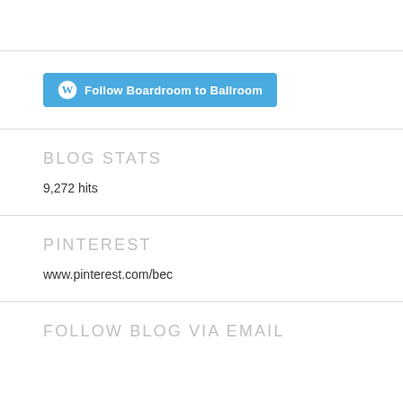[Figure (other): WordPress Follow button: 'Follow Boardroom to Ballroom' in blue rounded rectangle with WordPress logo]
BLOG STATS
9,272 hits
PINTEREST
www.pinterest.com/bec
FOLLOW BLOG VIA EMAIL